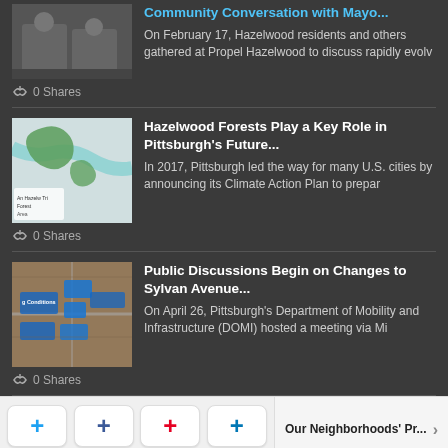[Figure (photo): Two people at a table, likely a community meeting, partially visible at top]
Community Conversation with Mayo...
On February 17, Hazelwood residents and others gathered at Propel Hazelwood to discuss rapidly evolv
0 Shares
[Figure (map): Green and white map showing Hazelwood forests area along a river]
Hazelwood Forests Play a Key Role in Pittsburgh's Future...
In 2017, Pittsburgh led the way for many U.S. cities by announcing its Climate Action Plan to prepar
0 Shares
[Figure (screenshot): Aerial/satellite image with blue overlay boxes labeled 'g Conditions']
Public Discussions Begin on Changes to Sylvan Avenue...
On April 26, Pittsburgh's Department of Mobility and Infrastructure (DOMI) hosted a meeting via Mi
0 Shares
Our Neighborhoods' Pr...
Shuttle Road Slammed...